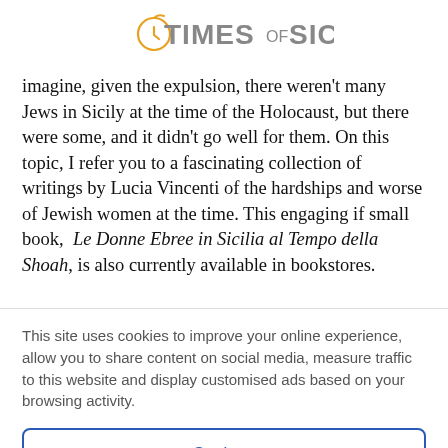TIMES OF SICILY
imagine, given the expulsion, there weren't many Jews in Sicily at the time of the Holocaust, but there were some, and it didn't go well for them. On this topic, I refer you to a fascinating collection of writings by Lucia Vincenti of the hardships and worse of Jewish women at the time. This engaging if small book,  Le Donne Ebree in Sicilia al Tempo della Shoah, is also currently available in bookstores.
This site uses cookies to improve your online experience, allow you to share content on social media, measure traffic to this website and display customised ads based on your browsing activity.
Settings
Accept